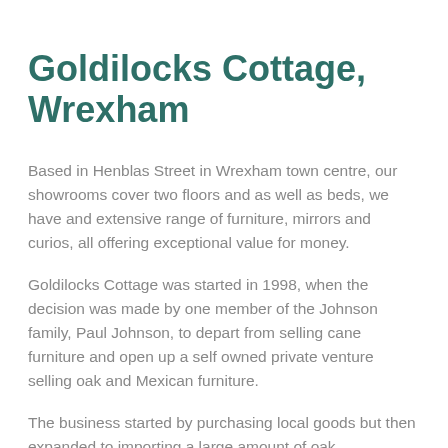Goldilocks Cottage, Wrexham
Based in Henblas Street in Wrexham town centre, our showrooms cover two floors and as well as beds, we have and extensive range of furniture, mirrors and curios, all offering exceptional value for money.
Goldilocks Cottage was started in 1998, when the decision was made by one member of the Johnson family, Paul Johnson, to depart from selling cane furniture and open up a self owned private venture selling oak and Mexican furniture.
The business started by purchasing local goods but then expanded to importing a large amount of oak